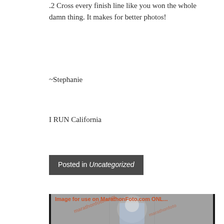.2 Cross every finish line like you won the whole damn thing. It makes for better photos!
~Stephanie
I RUN California
Posted in Uncategorized
[Figure (photo): A runner wearing a white cap and an 'I RUN California' shirt crossing a finish line with arms spread wide and smiling, surrounded by other runners on a road race course. The image has a MarathonFoto.com watermark.]